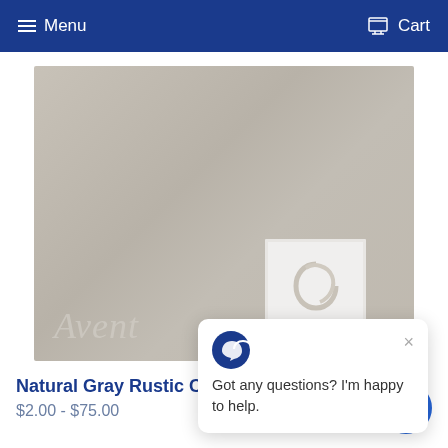Menu   Cart
[Figure (photo): Gray cement tile sample with embossed Avente brand logo watermark visible at bottom left, and a branded logo card overlay at bottom right. A chat popup overlay is visible in the bottom right area of the image.]
Natural Gray Rustic Cement Tile
$2.00 - $75.00